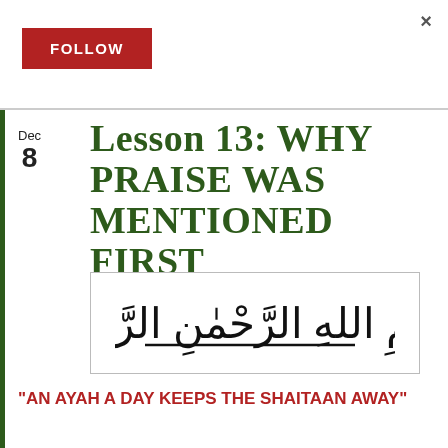[Figure (other): Close button (×) in top right corner]
[Figure (other): Red FOLLOW button]
Lesson 13: WHY PRAISE WAS MENTIONED FIRST
[Figure (illustration): Bismillah Arabic calligraphy in a bordered box]
"AN AYAH A DAY KEEPS THE SHAITAAN AWAY"